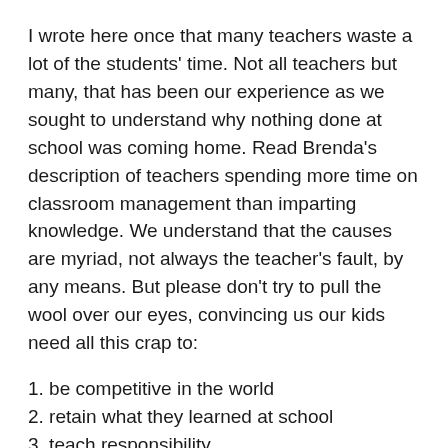I wrote here once that many teachers waste a lot of the students' time. Not all teachers but many, that has been our experience as we sought to understand why nothing done at school was coming home. Read Brenda's description of teachers spending more time on classroom management than imparting knowledge. We understand that the causes are myriad, not always the teacher's fault, by any means. But please don't try to pull the wool over our eyes, convincing us our kids need all this crap to:
1. be competitive in the world
2. retain what they learned at school
3. teach responsibility
4. prepared for first grade, fourth grade, sixth grade, middle school, high school, college.